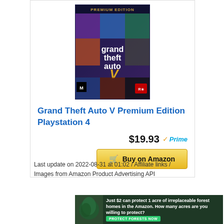[Figure (photo): Grand Theft Auto V Premium Edition game cover art for PlayStation 4]
Grand Theft Auto V Premium Edition Playstation 4
$19.93 ✓Prime
🛒 Buy on Amazon
Last update on 2022-08-31 at 01:02 / Affiliate links / Images from Amazon Product Advertising API
[Figure (photo): Advertisement banner: Just $2 can protect 1 acre of irreplaceable forest homes in the Amazon. How many acres are you willing to protect? PROTECT FORESTS NOW]